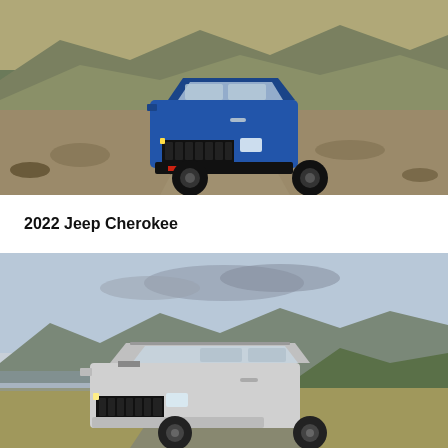[Figure (photo): Blue Jeep Cherokee Trailhawk driving on a rocky off-road trail with dry hills and sparse green brush in the background, shot from a front-low angle.]
2022 Jeep Cherokee
[Figure (photo): Silver/white Jeep Cherokee parked or driving on a paved road with a scenic mountain landscape and dramatic cloudy sky in the background, shot from a 3/4 front angle.]